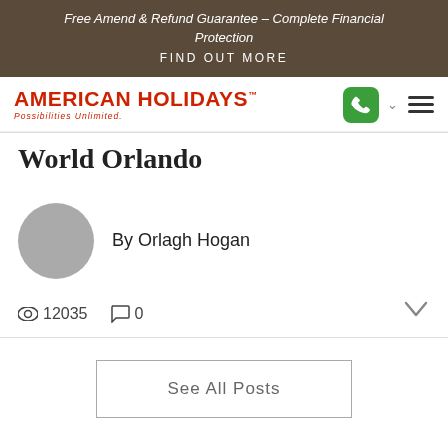Free Amend & Refund Guarantee – Complete Financial Protection
FIND OUT MORE
[Figure (logo): American Holidays logo with tagline 'Possibilities Unlimited.' in red, with phone icon, chevron and hamburger menu on the right]
World Orlando
By Orlagh Hogan
👁 12035   💬 0
See All Posts